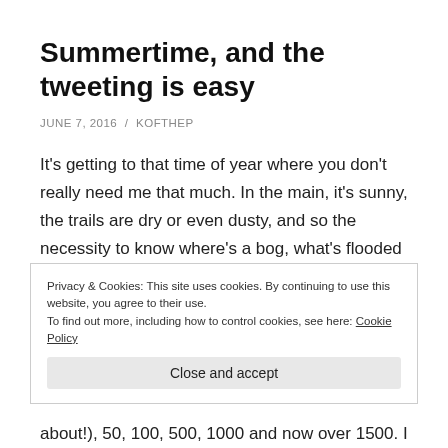Summertime, and the tweeting is easy
JUNE 7, 2016  /  KOFTHEP
It's getting to that time of year where you don't really need me that much. In the main, it's sunny, the trails are dry or even dusty, and so the necessity to know where's a bog, what's flooded or where the snowbound trails are is understandably lessened.
Privacy & Cookies: This site uses cookies. By continuing to use this website, you agree to their use.
To find out more, including how to control cookies, see here: Cookie Policy
about!), 50, 100, 500, 1000 and now over 1500. I've been